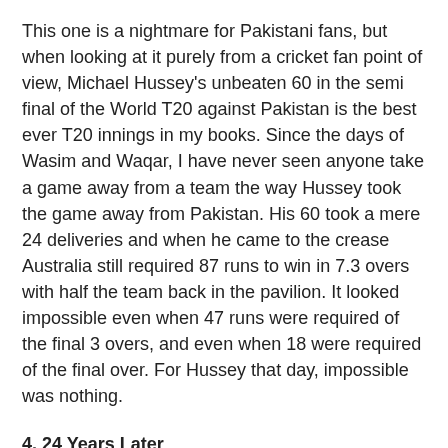This one is a nightmare for Pakistani fans, but when looking at it purely from a cricket fan point of view, Michael Hussey's unbeaten 60 in the semi final of the World T20 against Pakistan is the best ever T20 innings in my books. Since the days of Wasim and Waqar, I have never seen anyone take a game away from a team the way Hussey took the game away from Pakistan. His 60 took a mere 24 deliveries and when he came to the crease Australia still required 87 runs to win in 7.3 overs with half the team back in the pavilion. It looked impossible even when 47 runs were required of the final 3 overs, and even when 18 were required of the final over. For Hussey that day, impossible was nothing.
4. 24 Years Later
When England won the 4th test against Australia at the MCG in the ongoing Ashes series, they also retained the Ashes and did what no other English team had done in 24 years - win the Ashes on Australian soil. The celebrations at the end of that test will be etched in my mind for a long time to come - the way the England team celebrated just shows how much the victory means to them. And we can all admit that there is that extra pleasure that we all derive out of watching